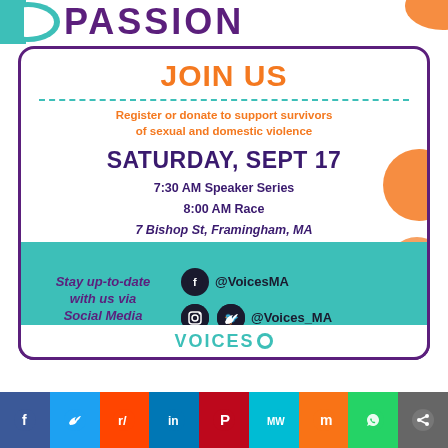PASSION
JOIN US
Register or donate to support survivors of sexual and domestic violence
SATURDAY, SEPT 17
7:30 AM Speaker Series
8:00 AM Race
7 Bishop St, Framingham, MA
Stay up-to-date with us via Social Media
@VoicesMA
@Voices_MA
VOICES
Facebook Twitter Reddit LinkedIn Pinterest MeWe Mix WhatsApp Share